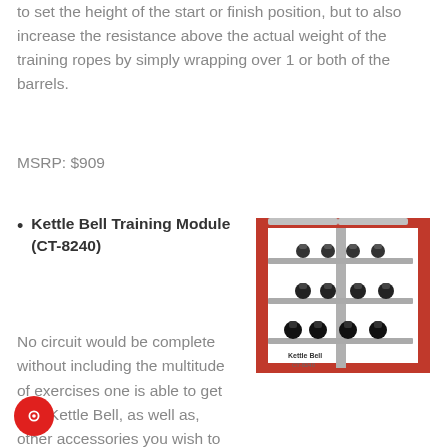to set the height of the start or finish position, but to also increase the resistance above the actual weight of the training ropes by simply wrapping over 1 or both of the barrels.
MSRP: $909
Kettle Bell Training Module (CT-8240)
[Figure (photo): Kettle Bell CT-8240 training module product image showing a red metal rack with multiple shelves holding kettle bells]
No circuit would be complete without including the multitude of exercises one is able to get with Kettle Bell, as well as, other accessories you wish to store on the racks. The CT-8240 is